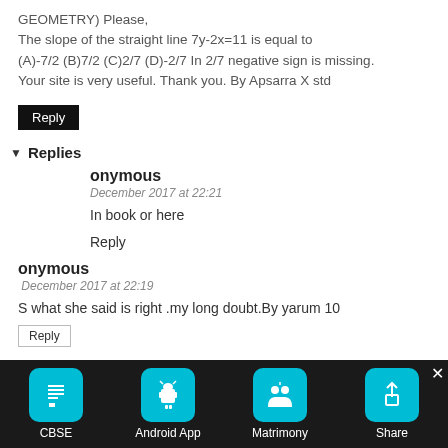GEOMETRY) Please, The slope of the straight line 7y-2x=11 is equal to (A)-7/2 (B)7/2 (C)2/7 (D)-2/7 In 2/7 negative sign is missing. Your site is very useful. Thank you. By Apsarra X std
Reply
Replies
onymous
December 2017 at 22:21
In book or here
Reply
onymous
December 2017 at 22:19
S what she said is right .my long doubt.By yarum 10
Reply
[Figure (screenshot): Bottom toolbar with CBSE, Android App, Matrimony, and Share icons on dark background]